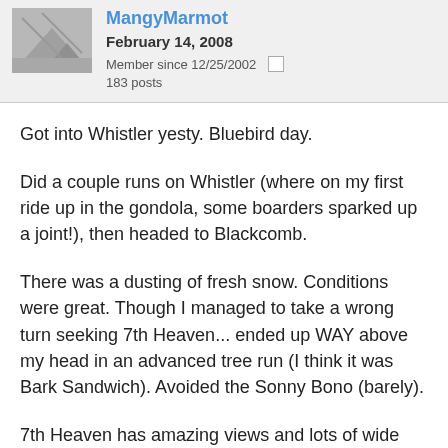MangyMarmot
February 14, 2008
Member since 12/25/2002
183 posts
Got into Whistler yesty. Bluebird day.
Did a couple runs on Whistler (where on my first ride up in the gondola, some boarders sparked up a joint!), then headed to Blackcomb.
There was a dusting of fresh snow. Conditions were great. Though I managed to take a wrong turn seeking 7th Heaven... ended up WAY above my head in an advanced tree run (I think it was Bark Sandwich). Avoided the Sonny Bono (barely).
7th Heaven has amazing views and lots of wide